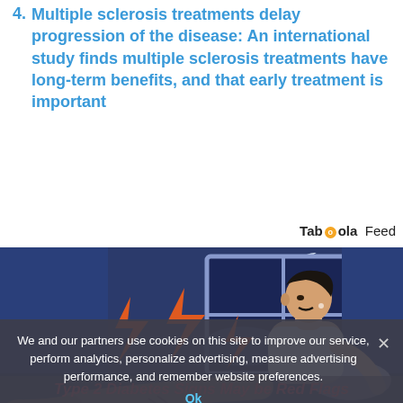4. Multiple sclerosis treatments delay progression of the disease: An international study finds multiple sclerosis treatments have long-term benefits, and that early treatment is important
[Figure (illustration): Taboola Feed branding label with stylized logo containing orange circle]
[Figure (illustration): Illustrated image of a man in a white tank top sitting on a bed at night with orange lightning bolt symbols near his legs, dark blue night sky visible through window]
We and our partners use cookies on this site to improve our service, perform analytics, personalize advertising, measure advertising performance, and remember website preferences.
Ok
Type 2 Diabetes Signs May be Red Flags